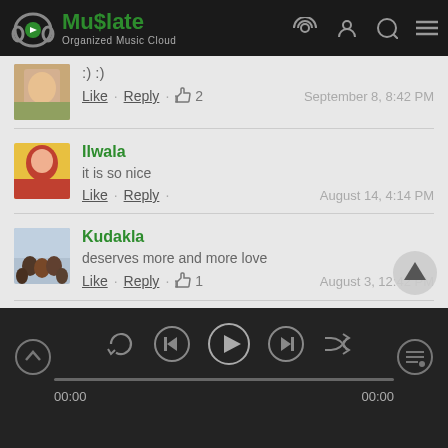MuSlate — Organized Music Cloud
:) :)
Like · Reply · 👍 2    September 8, 8:42 PM
Ilwala
it is so nice
Like · Reply ·    August 14, 4:14 PM
Kudakla
deserves more and more love
Like · Reply · 👍 1    August 3, 12:42 PM
Soorix
00:00  [progress bar]  00:00